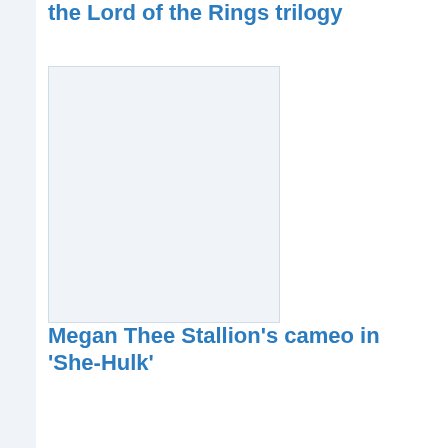the Lord of the Rings trilogy
[Figure (photo): Image placeholder with light blue-grey background]
Megan Thee Stallion's cameo in 'She-Hulk'